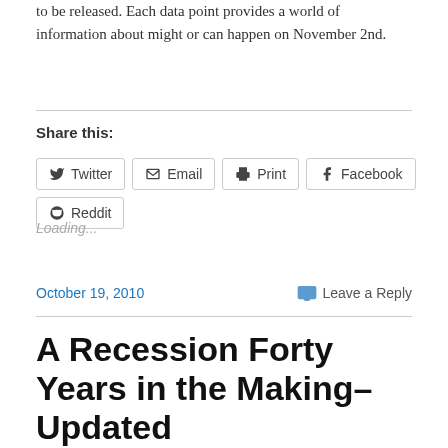to be released. Each data point provides a world of information about might or can happen on November 2nd.
Share this:
Twitter  Email  Print  Facebook  Reddit
Loading...
October 19, 2010    Leave a Reply
A Recession Forty Years in the Making–Updated